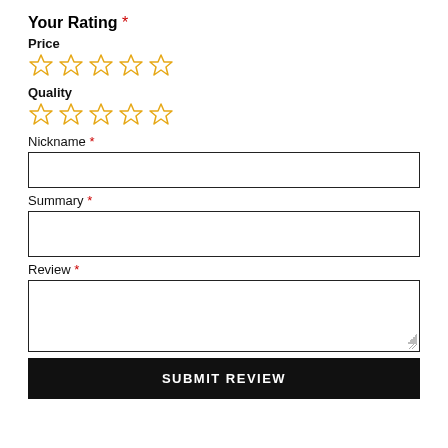Your Rating *
Price
[Figure (other): Five empty star rating icons for Price category, orange outlined stars]
Quality
[Figure (other): Five empty star rating icons for Quality category, orange outlined stars]
Nickname *
[Figure (other): Empty text input field for Nickname]
Summary *
[Figure (other): Empty text input field for Summary]
Review *
[Figure (other): Empty textarea for Review with resize handle]
SUBMIT REVIEW